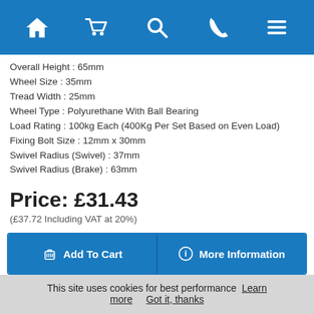Navigation bar with home, cart, search, phone, and menu icons
Overall Height : 65mm
Wheel Size : 35mm
Tread Width : 25mm
Wheel Type : Polyurethane With Ball Bearing
Load Rating : 100kg Each (400Kg Per Set Based on Even Load)
Fixing Bolt Size : 12mm x 30mm
Swivel Radius (Swivel) : 37mm
Swivel Radius (Brake) : 63mm
Price: £31.43
(£37.72 Including VAT at 20%)
Add To Cart
More Information
[Figure (photo): Two caster wheel products shown side by side - one with brake mechanism and one plain]
This site uses cookies for best performance  Learn more  Got it, thanks